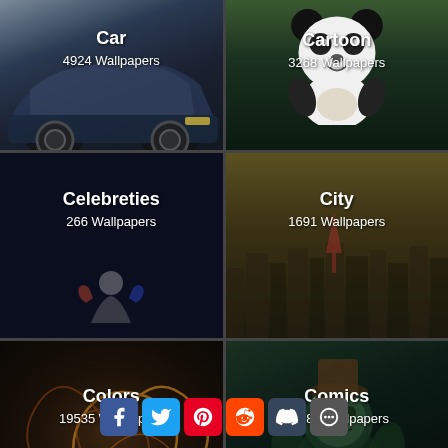[Figure (screenshot): Mobile app wallpaper category grid showing 6 categories: Car (4924 Wallpapers), Cartoon (3268 Wallpapers), Celebreties (266 Wallpapers), City (1691 Wallpapers), Colors (19535 Wallpapers), Comics (14382 Wallpapers), with social share buttons at bottom]